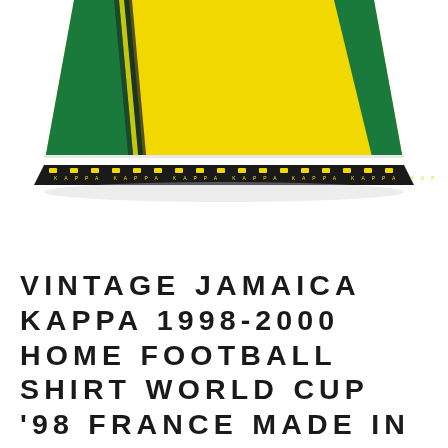[Figure (photo): Bottom portion of a vintage Jamaica Kappa football shirt, showing yellow and green panels with vertical stripes and a patterned hem band]
VINTAGE JAMAICA KAPPA 1998-2000 HOME FOOTBALL SHIRT WORLD CUP '98 FRANCE MADE IN ITALY SIZE L YELLOW GREEN